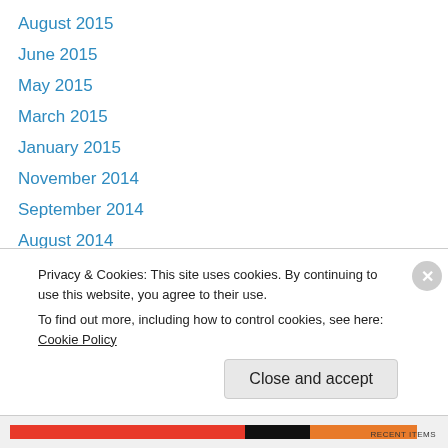August 2015
June 2015
May 2015
March 2015
January 2015
November 2014
September 2014
August 2014
June 2014
May 2014
April 2014
March 2014
February 2014
Privacy & Cookies: This site uses cookies. By continuing to use this website, you agree to their use. To find out more, including how to control cookies, see here: Cookie Policy
Close and accept